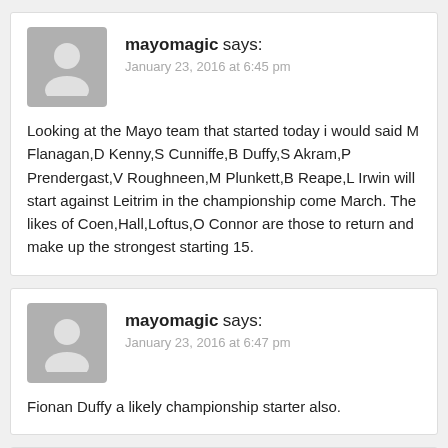mayomagic says:
January 23, 2016 at 6:45 pm
Looking at the Mayo team that started today i would said M Flanagan,D Kenny,S Cunniffe,B Duffy,S Akram,P Prendergast,V Roughneen,M Plunkett,B Reape,L Irwin will start against Leitrim in the championship come March. The likes of Coen,Hall,Loftus,O Connor are those to return and make up the strongest starting 15.
mayomagic says:
January 23, 2016 at 6:47 pm
Fionan Duffy a likely championship starter also.
Liamf says: